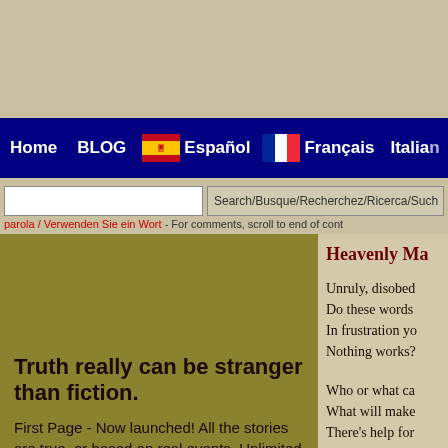Home | BLOG | Español | Français | Italian
Search/Busque/Recherchez/Ricerca/Such
parola / Verwenden Sie ein Wort - For comments, scroll to end of cont
Truth really can be stranger than fiction.
First Page - Now launched! All the stories are true, or based on real events. Unlimited reading for $4.99 / month. No downloads. Read on your phone, tablet or computer.
Heavenly Ma
Unruly, disobed
Do these words
In frustration yo
Nothing works?
Who or what ca
What will make
There's help for
While they learn